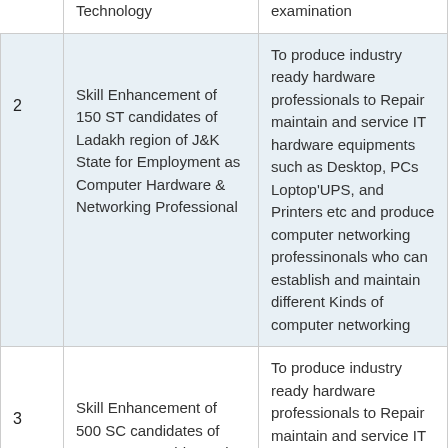| # | Title | Description |
| --- | --- | --- |
|  | Technology | examination |
| 2 | Skill Enhancement of 150 ST candidates of Ladakh region of J&K State for Employment as Computer Hardware & Networking Professional | To produce industry ready hardware professionals to Repair maintain and service IT hardware equipments such as Desktop, PCs Loptop'UPS, and Printers etc and produce computer networking professinonals who can establish and maintain different Kinds of computer networking |
| 3 | Skill Enhancement of 500 SC candidates of Jammu & Sambha region of J&K State for Employment as Computer Hardware & | To produce industry ready hardware professionals to Repair maintain and service IT hardware equipments such as Desktop, PCs Laptop, UPS, and Printers etc and produce computer |